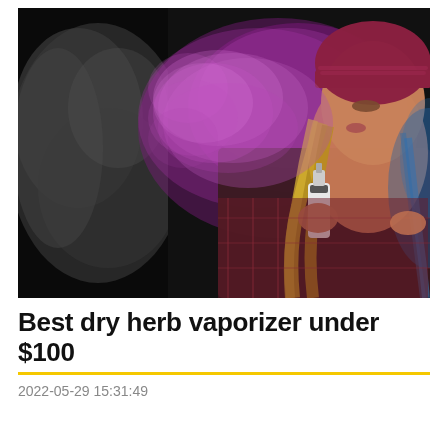[Figure (photo): Young woman with long blonde hair and red beanie hat exhaling colorful purple/pink vapor clouds from a vaporizer device, against a dark black background with gray smoke on the left side. She is wearing a plaid jacket and holding a white vaporizer device.]
Best dry herb vaporizer under $100
2022-05-29 15:31:49